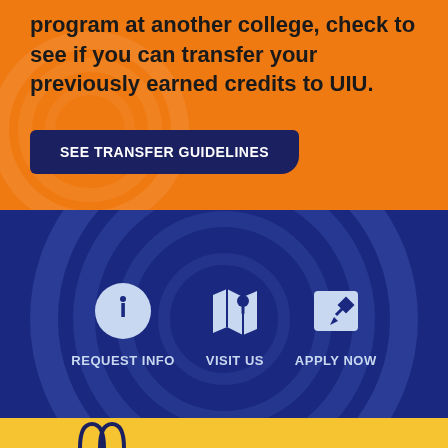program at another college, check to see if you can transfer your previously earned credits to UIU.
SEE TRANSFER GUIDELINES
[Figure (infographic): Three action icons on dark blue background: REQUEST INFO (info circle icon), VISIT US (map pin icon), APPLY NOW (edit/pencil icon)]
[Figure (logo): UIU logo on gold background (partial, bottom of page)]